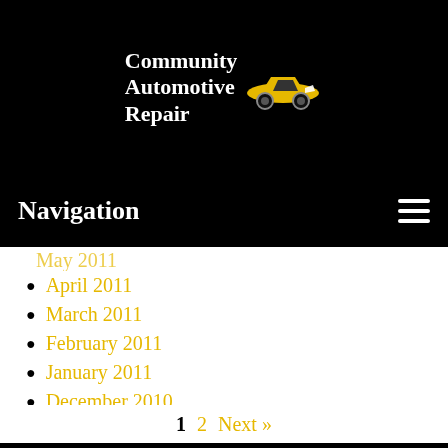[Figure (logo): Community Automotive Repair logo with white text and yellow sports car graphic on black background]
Navigation
April 2011
March 2011
February 2011
January 2011
December 2010
November 2010
1 2 Next »